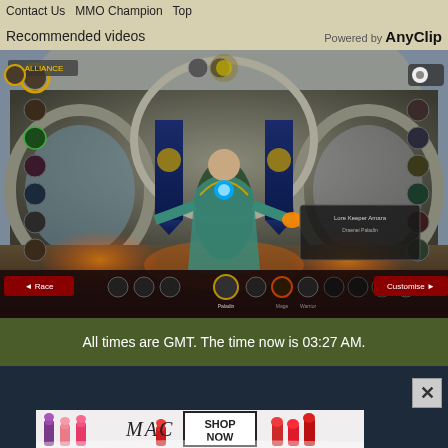Contact Us  MMO Champion  Top
Recommended videos  Powered by AnyClip
[Figure (screenshot): World of Warcraft character creation/selection screen showing an Alliance character (mage or paladin) in a grand circular hall with blue and gold banners. Character roster icons shown on left and right sides. Bottom bar shows race/class selection options. Red bar at bottom with Back and Continue buttons.]
All times are GMT. The time now is 03:27 AM.
[Figure (screenshot): Dark website footer section with vertical divider line and a close (X) button in top right corner]
[Figure (photo): MAC Cosmetics advertisement banner showing colorful lipsticks (purple, pink, coral, red) with MAC logo and SHOP NOW call-to-action box]